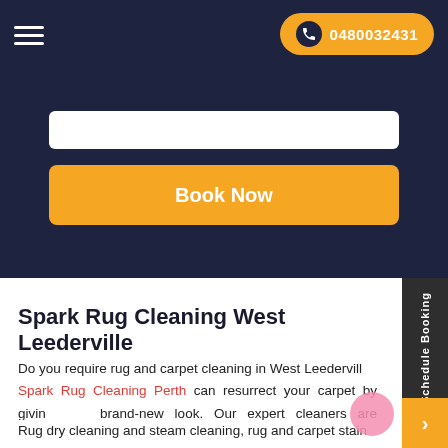Navigation bar with hamburger menu and phone number 0480032431
[Figure (screenshot): Dark navy form section with a white input bar and a yellow 'Book Now' button]
Spark Rug Cleaning West Leederville
Do you require rug and carpet cleaning in West Leederville? Spark Rug Cleaning Perth can resurrect your carpet by giving it a brand-new look. Our expert cleaners are available 24 hours a day, 7 days a week to provide you the most effective solution at affordable rates.
Rug dry cleaning and steam cleaning, rug and carpet stain